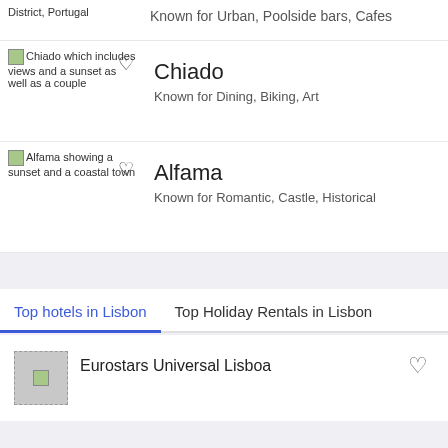District, Portugal
Known for Urban, Poolside bars, Cafes
Chiado which includes views and a sunset as well as a couple
Chiado
Known for Dining, Biking, Art
Alfama showing a sunset and a coastal town
Alfama
Known for Romantic, Castle, Historical
Top hotels in Lisbon
Top Holiday Rentals in Lisbon
Eurostars Universal Lisboa